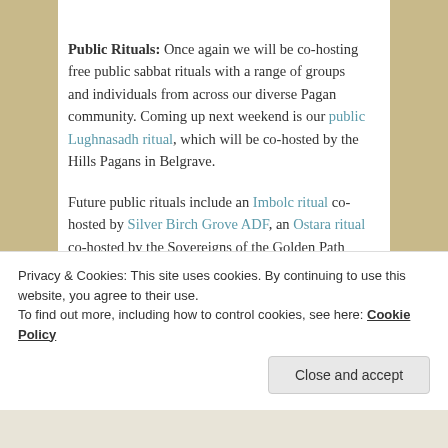Public Rituals: Once again we will be co-hosting free public sabbat rituals with a range of groups and individuals from across our diverse Pagan community. Coming up next weekend is our public Lughnasadh ritual, which will be co-hosted by the Hills Pagans in Belgrave.
Future public rituals include an Imbolc ritual co-hosted by Silver Birch Grove ADF, an Ostara ritual co-hosted by the Sovereigns of the Golden Path and a Midsummer ritual co-hosted by the Melbourne Grove of OBOD.
Privacy & Cookies: This site uses cookies. By continuing to use this website, you agree to their use.
To find out more, including how to control cookies, see here: Cookie Policy